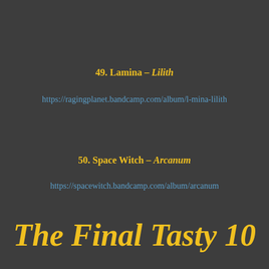49. Lamina – Lilith
https://ragingplanet.bandcamp.com/album/l-mina-lilith
50. Space Witch – Arcanum
https://spacewitch.bandcamp.com/album/arcanum
The Final Tasty 10